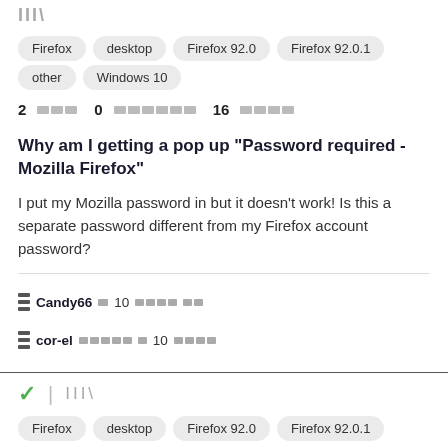[Figure (other): Library/stack icon (decorative)]
Firefox  desktop  Firefox 92.0  Firefox 92.0.1  other  Windows 10
2 [redacted] 0 [redacted] 16 [redacted]
Why am I getting a pop up "Password required - Mozilla Firefox"
I put my Mozilla password in but it doesn't work! Is this a separate password different from my Firefox account password?
Candy66 [redacted] 10 [redacted] [redacted]
cor-el [redacted] [redacted] 10 [redacted]
[Figure (other): Checkmark icon and library icon]
Firefox  desktop  Firefox 92.0  Firefox 92.0.1